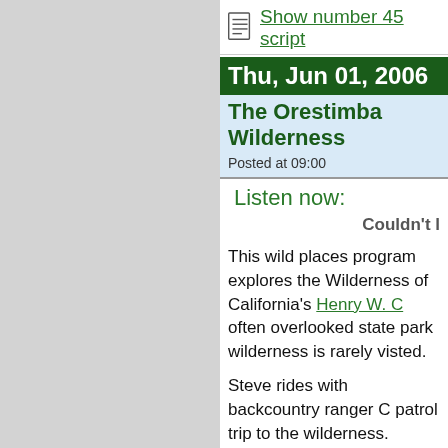Show number 45 script
Thu, Jun 01, 2006
The Orestimba Wilderness
Posted at 09:00
Listen now:
Couldn't l
This wild places program explores the Wilderness of California's Henry W. C often overlooked state park wilderness is rarely visted.
Steve rides with backcountry ranger C patrol trip to the wilderness. Volunteer Goodrich rides along. Along the way t Bambauer, a horse camper. They stop along Red Creek, in the heart of the w
The Pine Ridge Association provides a to operate and maintain the park, and t Several years ago, the wilderness area line through it.